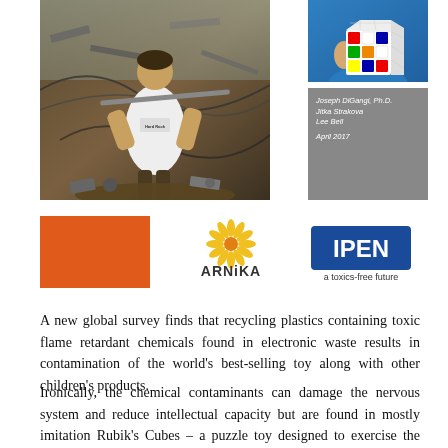[Figure (photo): A person wearing a Hard Rock Cafe t-shirt working in an e-waste scrapyard surrounded by electronic debris and wires]
[Figure (photo): A child holding a colorful Rubik's Cube]
Joseph DiGangi, Ph.D.
Jitka Strakova
Lee Bell

April 2017
[Figure (logo): Orange square logo (BAN - Basel Action Network)]
[Figure (logo): Arnika logo with yellow sunflower design and text 'ARNiKA']
[Figure (logo): IPEN logo - blue rectangle with white IPEN text and 'a toxics-free future' tagline]
A new global survey finds that recycling plastics containing toxic flame retardant chemicals found in electronic waste results in contamination of the world's best-selling toy along with other children's products.
Ironically, the chemical contaminants can damage the nervous system and reduce intellectual capacity but are found in mostly imitation Rubik's Cubes – a puzzle toy designed to exercise the mind.